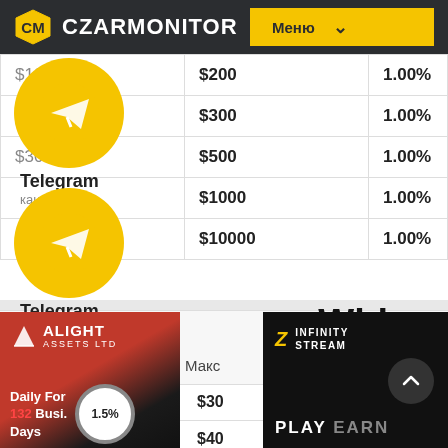CZARMONITOR — Меню
| Депозит (от) | Депозит (до) | % |
| --- | --- | --- |
| $101 | $200 | 1.00% |
|  | $300 | 1.00% |
| $301 | $500 | 1.00% |
|  | $1000 | 1.00% |
|  | $10000 | 1.00% |
[Figure (logo): Alight Assets Ltd logo with red/dark gradient, Daily For 132 Busi. Days, 1.5% circle]
[Figure (logo): Infinity Stream logo with dark background, PLAY EARN text]
| Депозит | Макс | % |
| --- | --- | --- |
|  | $30 |  |
|  | $40 |  |
|  | $60 |  |